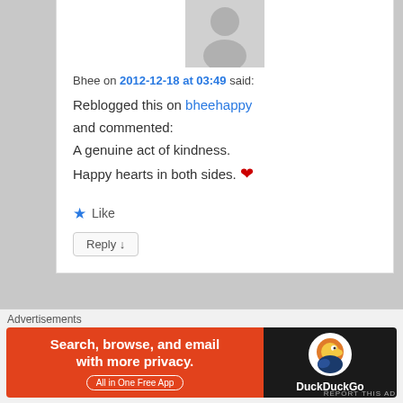[Figure (illustration): Default user avatar (gray silhouette on light gray background) for commenter Bhee]
Bhee on 2012-12-18 at 03:49 said:
Reblogged this on bheehappy and commented:
A genuine act of kindness.
Happy hearts in both sides. ❤
★ Like
Reply ↓
[Figure (illustration): Default user avatar (gray silhouette) for second commenter, partially visible]
Advertisements
[Figure (other): DuckDuckGo advertisement banner: 'Search, browse, and email with more privacy. All in One Free App' with DuckDuckGo duck logo on dark background]